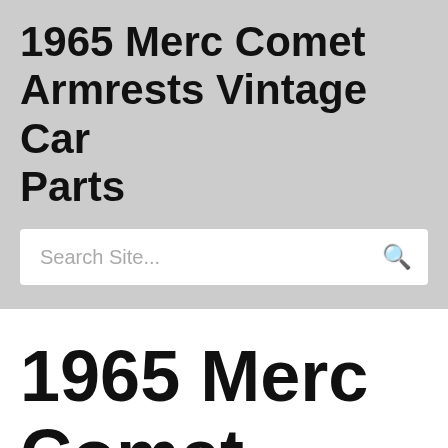1965 Merc Comet Armrests Vintage Car Parts
[Figure (other): Search bar with placeholder text 'Search Site...' and a search icon on the right]
1965 Merc Comet